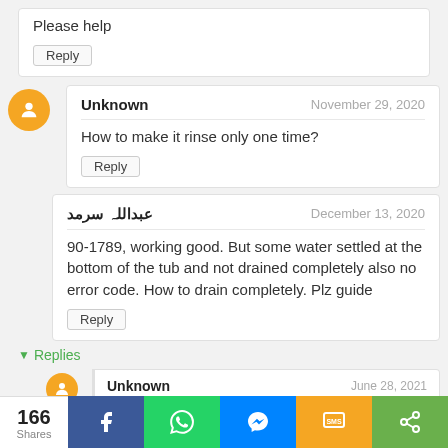Please help
Reply
Unknown
November 29, 2020
How to make it rinse only one time?
Reply
عبداللہ سرمد
December 13, 2020
90-1789, working good. But some water settled at the bottom of the tub and not drained completely also no error code. How to drain completely. Plz guide
Reply
Replies
Unknown
June 28, 2021
166 Shares